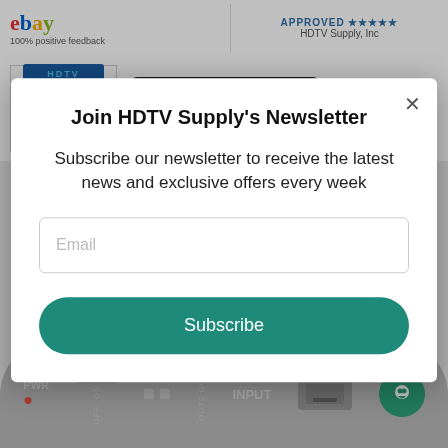[Figure (screenshot): HDTV Supply website header with eBay logo and 100% positive feedback badge, approved stars badge, HDTV Supply logo, Google Play download button for AV Catalog, navigation icons]
[Figure (screenshot): Product image at bottom showing device with PWR, OFF ON switch, OUT2, OUT1 ports, INPUT HDMI port labels]
Join HDTV Supply's Newsletter
Subscribe our newsletter to receive the latest news and exclusive offers every week
Email
Subscribe